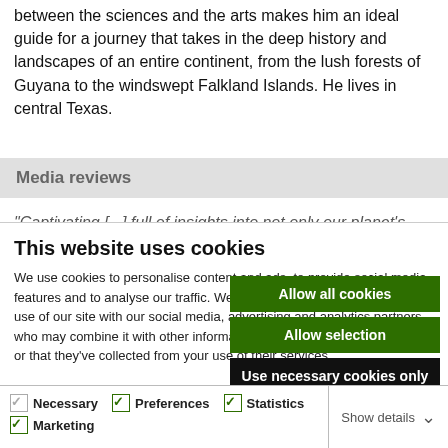between the sciences and the arts makes him an ideal guide for a journey that takes in the deep history and landscapes of an entire continent, from the lush forests of Guyana to the windswept Falkland Islands. He lives in central Texas.
Media reviews
"Captivating [...] full of insights into not only our planet's
This website uses cookies
We use cookies to personalise content and ads, to provide social media features and to analyse our traffic. We also share information about your use of our site with our social media, advertising and analytics partners who may combine it with other information that you've provided to them or that they've collected from your use of their services.
Allow all cookies
Allow selection
Use necessary cookies only
Necessary  Preferences  Statistics  Marketing  Show details